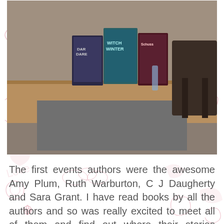[Figure (photo): Photo of books on a wooden table/shelf with a dark chair visible in the background. Visible book titles include 'Witch Winter' and other young adult novels.]
The first events authors were the awesome Amy Plum, Ruth Warburton, C J Daugherty and Sara Grant.  I have read books by all the authors and so was really excited to meet all of them and find out where their stories stemmed from.
[Figure (photo): Photo of people at a book event or gallery space. Three women are visible, standing and talking, with framed artwork visible on the white walls behind them.]